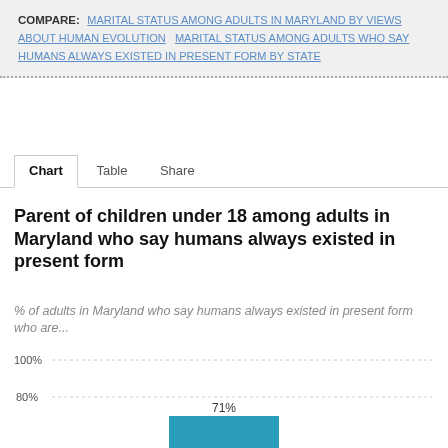COMPARE: MARITAL STATUS AMONG ADULTS IN MARYLAND BY VIEWS ABOUT HUMAN EVOLUTION   MARITAL STATUS AMONG ADULTS WHO SAY HUMANS ALWAYS EXISTED IN PRESENT FORM BY STATE
Chart   Table   Share
Parent of children under 18 among adults in Maryland who say humans always existed in present form
% of adults in Maryland who say humans always existed in present form who are...
[Figure (bar-chart): Parent of children under 18 among adults in Maryland who say humans always existed in present form]